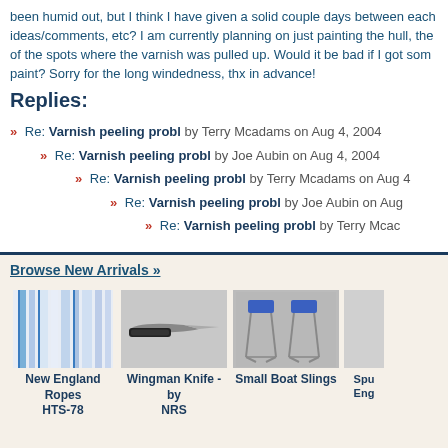been humid out, but I think I have given a solid couple days between each ideas/comments, etc? I am currently planning on just painting the hull, the of the spots where the varnish was pulled up. Would it be bad if I got som paint? Sorry for the long windedness, thx in advance!
Replies:
» Re: Varnish peeling probl by Terry Mcadams on Aug 4, 2004
» Re: Varnish peeling probl by Joe Aubin on Aug 4, 2004
» Re: Varnish peeling probl by Terry Mcadams on Aug 4
» Re: Varnish peeling probl by Joe Aubin on Aug
» Re: Varnish peeling probl by Terry Mcad
Browse New Arrivals »
[Figure (photo): New England Ropes HTS-78 product photo showing blue and white ropes]
[Figure (photo): Wingman Knife by NRS product photo showing a folding knife]
[Figure (photo): Small Boat Slings product photo showing blue boat slings]
[Figure (photo): Partial product photo (Spu Eng)]
New England Ropes HTS-78
Wingman Knife - by NRS
Small Boat Slings